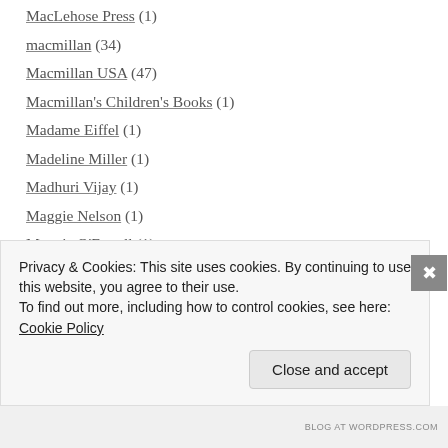MacLehose Press (1)
macmillan (34)
Macmillan USA (47)
Macmillan's Children's Books (1)
Madame Eiffel (1)
Madeline Miller (1)
Madhuri Vijay (1)
Maggie Nelson (1)
Maggie O'Farrell (1)
Magic Realism (5)
magical realism (2)
Mahasweta Devi (3)
Privacy & Cookies: This site uses cookies. By continuing to use this website, you agree to their use. To find out more, including how to control cookies, see here: Cookie Policy
Close and accept